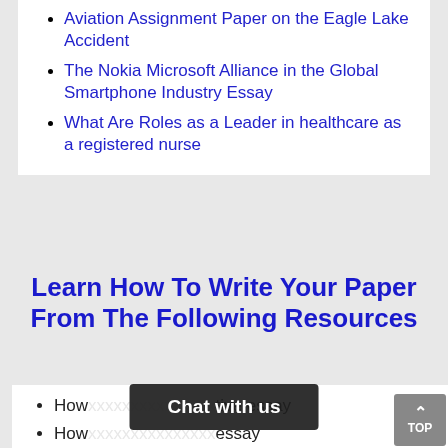Aviation Assignment Paper on the Eagle Lake Accident
The Nokia Microsoft Alliance in the Global Smartphone Industry Essay
What Are Roles as a Leader in healthcare as a registered nurse
Learn How To Write Your Paper From The Following Resources
How [to write a] comparative essay
How [to write an argumentative] essay